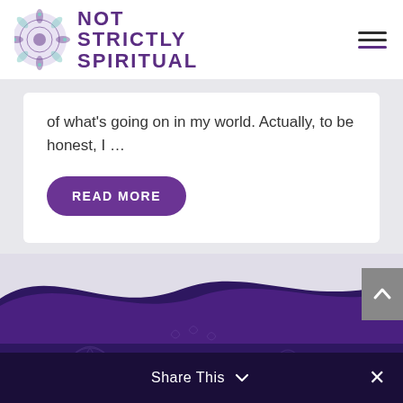[Figure (logo): Not Strictly Spiritual website logo with mandala illustration on left and text NOT STRICTLY SPIRITUAL on right in purple, plus hamburger menu icon on far right]
of what's going on in my world. Actually, to be honest, I ...
READ MORE
[Figure (illustration): Wave-shaped footer with dark purple background and decorative mandala/floral line art patterns]
Share This